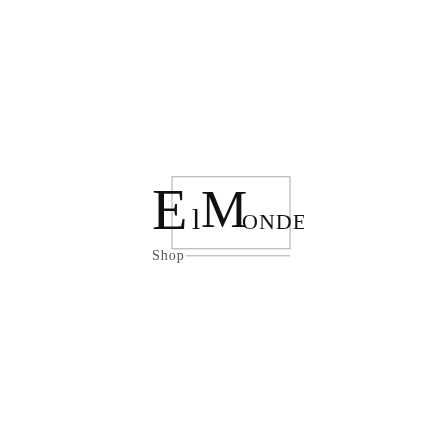[Figure (logo): EL MONDE Shop logo: large serif letters 'E' and 'M' overlapping with smaller 'ONDE' text, inside a partial square border, with 'Shop' text and a horizontal line below]